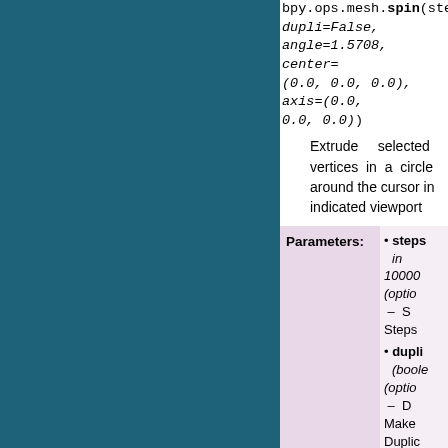bpy.ops.mesh.spin(steps=9, dupli=False, angle=1.5708, center=(0.0, 0.0, 0.0), axis=(0.0, 0.0, 0.0))
Extrude selected vertices in a circle around the cursor in indicated viewport
| Parameters: |  |
| --- | --- |
|  | steps (optional) – Steps |
|  | dupli (boolean) (optional) – Duplicate Make Duplicates |
|  | angle |